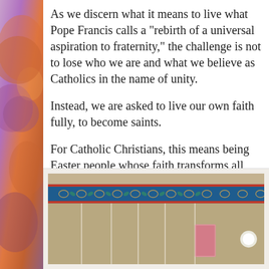As we discern what it means to live what Pope Fra rebirth of a universal aspiration to fraternity," the ch to lose who we are and what we believe as Catholi of unity.
Instead, we are asked to live our own faith fully, to saints.
For Catholic Christians, this means being Easter p our faith transforms all, even death.
+ + +
Note: An edited version of this post was published in the “Just Live It” co Liguorian Magazine.
[Figure (photo): Interior architectural photo showing decorative tile border band and hanging strings/cords against a beige/tan ceiling background.]